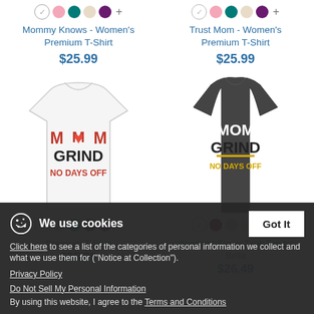[Figure (screenshot): E-commerce product listing page showing two women's t-shirts and partially visible tank top, with a cookie consent banner overlay at the bottom.]
Mommy Knows - Women's Premium T-Shirt
$25.99
Trust Mom - Women's Premium T-Shirt
$25.99
We use cookies
Click here to see a list of the categories of personal information we collect and what we use them for ("Notice at Collection").
Privacy Policy
Do Not Sell My Personal Information
By using this website, I agree to the Terms and Conditions
Premium T-Shirt
$25.99
Women's Flowy Tank Top by Bella
$26.49